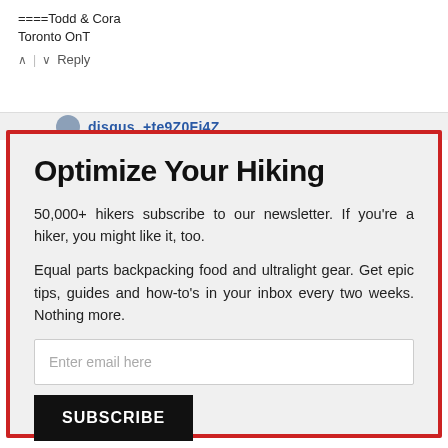====Todd & Cora
Toronto OnT
^ | v  Reply
disqus_+te9Z0Fi4Z
Optimize Your Hiking
50,000+ hikers subscribe to our newsletter. If you're a hiker, you might like it, too.
Equal parts backpacking food and ultralight gear. Get epic tips, guides and how-to's in your inbox every two weeks. Nothing more.
Enter email here
SUBSCRIBE